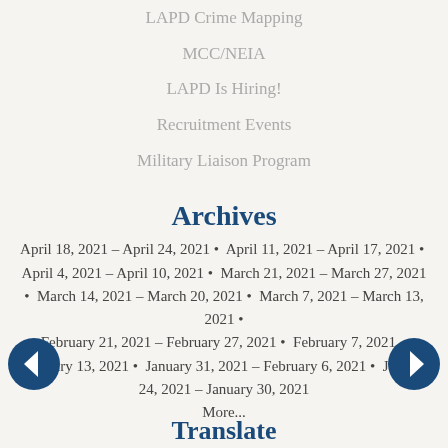LAPD Crime Mapping
MCC/NEIA
LAPD Is Hiring!
Recruitment Events
Military Liaison Program
Archives
April 18, 2021 – April 24, 2021 • April 11, 2021 – April 17, 2021 • April 4, 2021 – April 10, 2021 • March 21, 2021 – March 27, 2021 • March 14, 2021 – March 20, 2021 • March 7, 2021 – March 13, 2021 • February 21, 2021 – February 27, 2021 • February 7, 2021 – February 13, 2021 • January 31, 2021 – February 6, 2021 • January 24, 2021 – January 30, 2021
More...
Translate